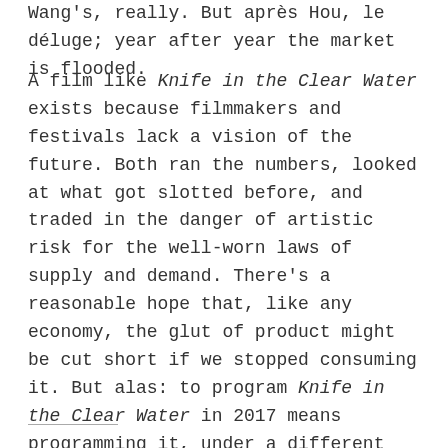Wang's, really. But après Hou, le déluge; year after year the market is flooded.
A film like Knife in the Clear Water exists because filmmakers and festivals lack a vision of the future. Both ran the numbers, looked at what got slotted before, and traded in the danger of artistic risk for the well-worn laws of supply and demand. There's a reasonable hope that, like any economy, the glut of product might be cut short if we stopped consuming it. But alas: to program Knife in the Clear Water in 2017 means programming it, under a different and presumably less tantalizing title, again and again and again.